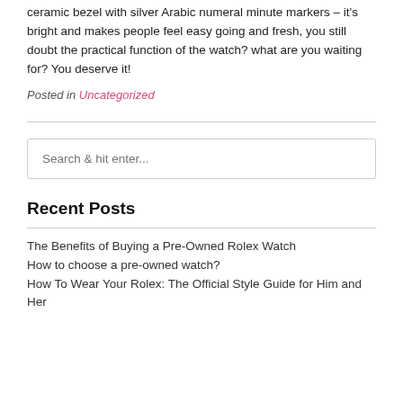ceramic bezel with silver Arabic numeral minute markers – it's bright and makes people feel easy going and fresh, you still doubt the practical function of the watch? what are you waiting for? You deserve it!
Posted in Uncategorized
Search & hit enter...
Recent Posts
The Benefits of Buying a Pre-Owned Rolex Watch
How to choose a pre-owned watch?
How To Wear Your Rolex: The Official Style Guide for Him and Her